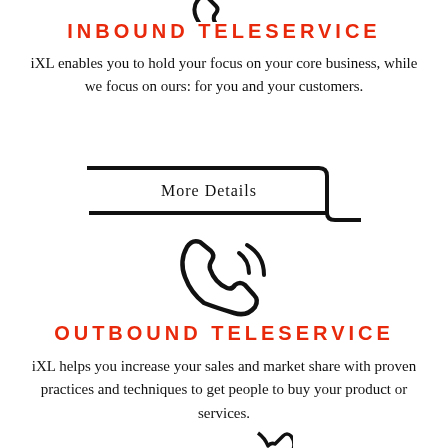[Figure (illustration): Partial phone/handset icon at top (cropped), black outline style]
INBOUND TELESERVICE
iXL enables you to hold your focus on your core business, while we focus on ours: for you and your customers.
[Figure (illustration): A rounded rectangle button shape with the label 'More Details' and a rounded bottom-right corner bracket/arrow design in black]
[Figure (illustration): Phone handset with signal/sound waves icon, black outline style, centered]
OUTBOUND TELESERVICE
iXL helps you increase your sales and market share with proven practices and techniques to get people to buy your product or services.
[Figure (illustration): Partial phone/handset icon at bottom (cropped), black outline style]